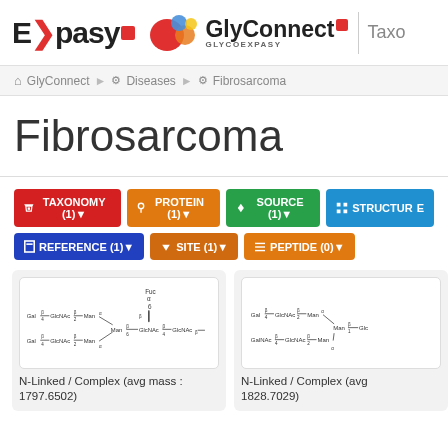Expasy | GlyConnect GLYCOEXPASY | Taxo...
GlyConnect > Diseases > Fibrosarcoma
Fibrosarcoma
TAXONOMY (1)
PROTEIN (1)
SOURCE (1)
STRUCTURE
REFERENCE (1)
SITE (1)
PEPTIDE (0)
[Figure (illustration): Glycan structure diagram showing Gal-GlcNAc-Man branches with Fuc and GlcNAc linkages, N-Linked / Complex type]
N-Linked / Complex (avg mass : 1797.6502)
[Figure (illustration): Glycan structure diagram showing Gal/GalNAc-GlcNAc-Man branches, N-Linked / Complex type]
N-Linked / Complex (avg 1828.7029)